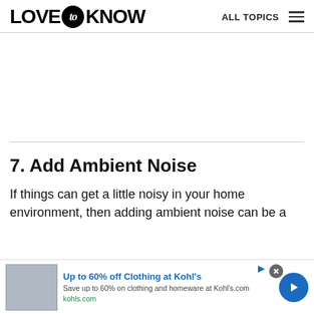LOVE to KNOW  ALL TOPICS
7. Add Ambient Noise
If things can get a little noisy in your home environment, then adding ambient noise can be a
[Figure (other): Advertisement banner: Up to 60% off Clothing at Kohl's. Save up to 60% on clothing and homeware at Kohl's.com. kohls.com. With thumbnail image of people and a blue forward arrow button.]